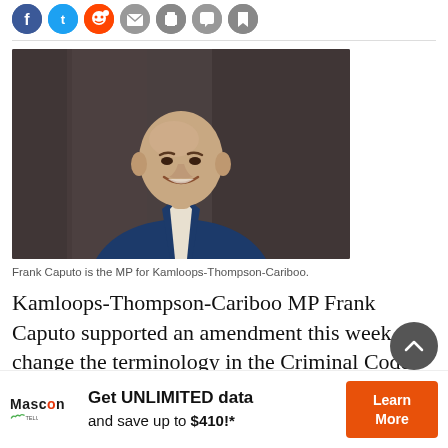[Figure (other): Social media sharing icons: Facebook (blue), Twitter (light blue), Reddit (orange), email (grey), print (grey), comment (grey), bookmark (grey)]
[Figure (photo): Portrait photo of Frank Caputo, a bald man smiling, wearing a dark navy blue suit jacket with white shirt, photographed against a dark wooden background.]
Frank Caputo is the MP for Kamloops-Thompson-Cariboo.
Kamloops-Thompson-Cariboo MP Frank Caputo supported an amendment this week to change the terminology in the Criminal Code.